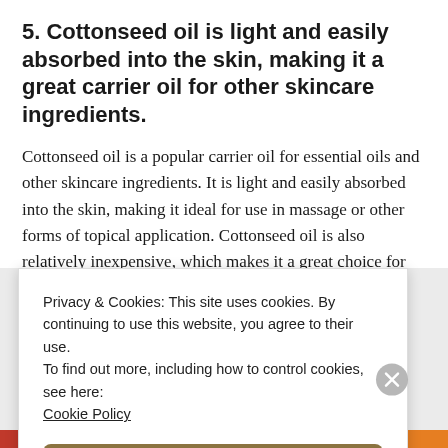5. Cottonseed oil is light and easily absorbed into the skin, making it a great carrier oil for other skincare ingredients.
Cottonseed oil is a popular carrier oil for essential oils and other skincare ingredients. It is light and easily absorbed into the skin, making it ideal for use in massage or other forms of topical application. Cottonseed oil is also relatively inexpensive, which makes it a great choice for budget-conscious
Privacy & Cookies: This site uses cookies. By continuing to use this website, you agree to their use.
To find out more, including how to control cookies, see here: Cookie Policy
Close and accept